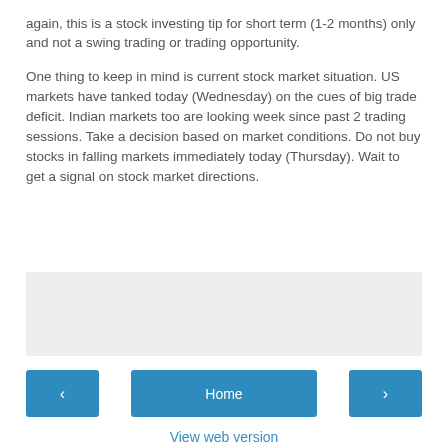again, this is a stock investing tip for short term (1-2 months) only and not a swing trading or trading opportunity.
One thing to keep in mind is current stock market situation. US markets have tanked today (Wednesday) on the cues of big trade deficit. Indian markets too are looking week since past 2 trading sessions. Take a decision based on market conditions. Do not buy stocks in falling markets immediately today (Thursday). Wait to get a signal on stock market directions.
[Figure (other): Grey advertisement/banner placeholder box]
< Home > View web version Powered by Blogger.